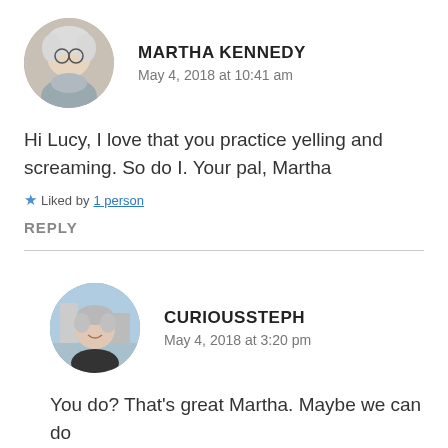[Figure (photo): Circular avatar photo of Martha Kennedy, an older woman with white/gray hair wearing glasses]
MARTHA KENNEDY
May 4, 2018 at 10:41 am
Hi Lucy, I love that you practice yelling and screaming. So do I. Your pal, Martha
Liked by 1 person
REPLY
[Figure (photo): Circular avatar photo of CuriousSteph, a woman with short gray hair smiling outdoors]
CURIOUSSTEPH
May 4, 2018 at 3:20 pm
You do? That's great Martha. Maybe we can do